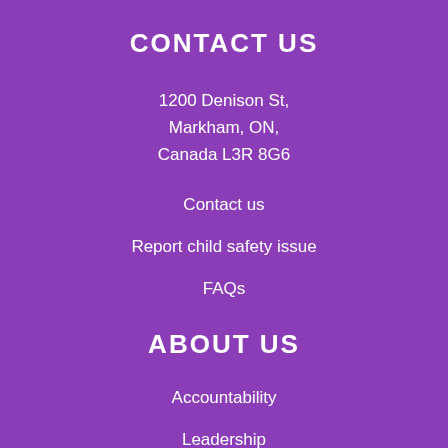CONTACT US
1200 Denison St,
Markham, ON,
Canada L3R 8G6
Contact us
Report child safety issue
FAQs
ABOUT US
Accountability
Leadership